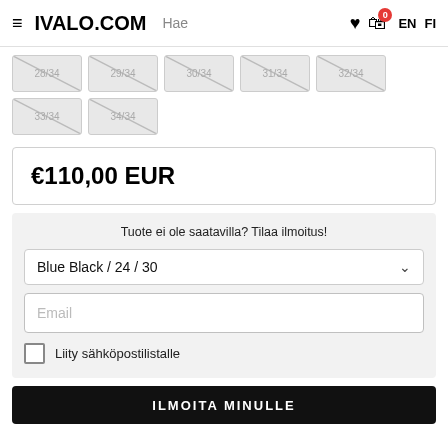IVALO.COM | Hae | EN | FI
[Figure (other): Row of crossed-out size buttons: 28/34, 29/34, 30/34, 31/34, 32/34, and second row: 33/34, 34/34]
€110,00 EUR
Tuote ei ole saatavilla? Tilaa ilmoitus!
Blue Black / 24 / 30
Email
Liity sähköpostilistalle
ILMOITA MINULLE